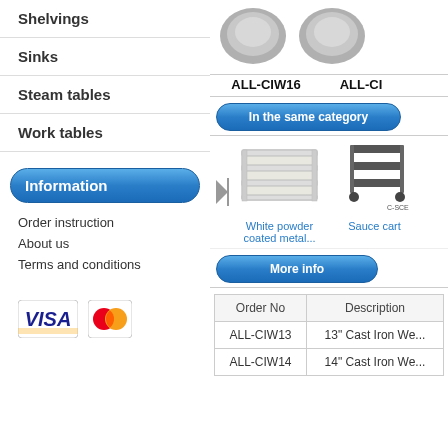Shelvings
Sinks
Steam tables
Work tables
Information
Order instruction
About us
Terms and conditions
[Figure (logo): VISA and MasterCard payment logos]
[Figure (photo): Two grey circular cast iron woks/pans from top, labeled ALL-CIW16 and ALL-CI...]
ALL-CIW16
ALL-CI
In the same category
[Figure (photo): White powder coated metal shelving/rack unit]
White powder coated metal...
[Figure (photo): Sauce cart - metal utility cart with shelves on wheels (C-SCE)]
Sauce cart
More info
| Order No | Description |
| --- | --- |
| ALL-CIW13 | 13" Cast Iron We... |
| ALL-CIW14 | 14" Cast Iron We... |